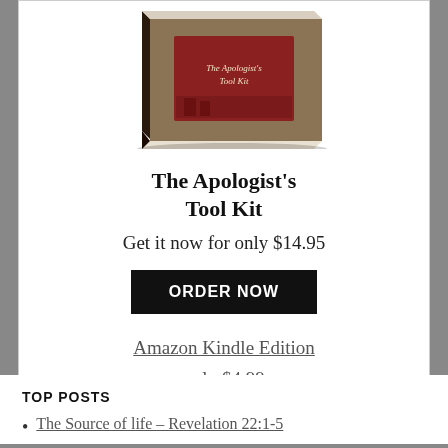[Figure (photo): A book titled 'The Apologist's Tool Kit' shown in 3D perspective, with a brown cover featuring a red panel and street scene image.]
The Apologist's Tool Kit
Get it now for only $14.95
ORDER NOW
Amazon Kindle Edition
only $4.99
TOP POSTS
The Source of life – Revelation 22:1-5